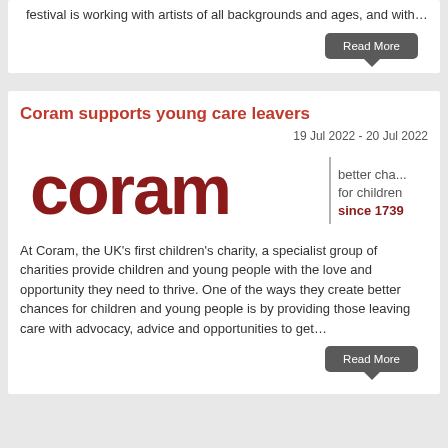environment to quiet moments of mindfulness. The festival is working with artists of all backgrounds and ages, and with…
Read More
Coram supports young care leavers
19 Jul 2022 - 20 Jul 2022
[Figure (logo): Coram logo — 'coram' in dark red rounded lettering with a vertical bar and text 'better chances for children since 1739']
At Coram, the UK's first children's charity, a specialist group of charities provide children and young people with the love and opportunity they need to thrive. One of the ways they create better chances for children and young people is by providing those leaving care with advocacy, advice and opportunities to get…
Read More